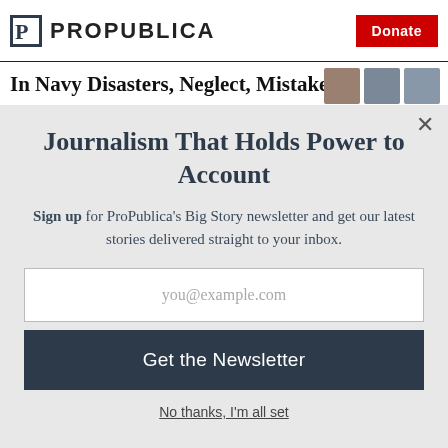ProPublica | Donate
In Navy Disasters, Neglect, Mistakes,
Journalism That Holds Power to Account
Sign up for ProPublica’s Big Story newsletter and get our latest stories delivered straight to your inbox.
you@example.com
Get the Newsletter
No thanks, I’m all set
This site is protected by reCAPTCHA and the Google Privacy Policy and Terms of Service apply.